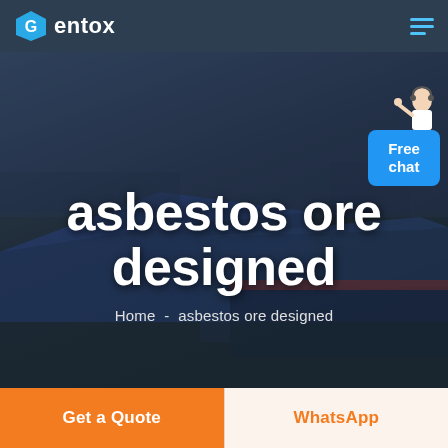Gentox
[Figure (photo): Aerial view of industrial manufacturing facility with large blue-roofed warehouse buildings, dark overlay with hero text overlay]
asbestos ore designed
Home  -  asbestos ore designed
Free chat
Get a Quote
WhatsApp